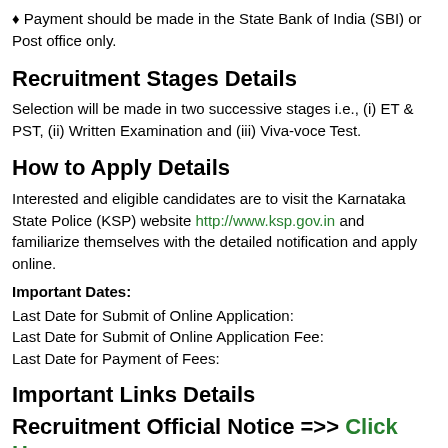♦ Payment should be made in the State Bank of India (SBI) or Post office only.
Recruitment Stages Details
Selection will be made in two successive stages i.e., (i) ET & PST, (ii) Written Examination and (iii) Viva-voce Test.
How to Apply Details
Interested and eligible candidates are to visit the Karnataka State Police (KSP) website http://www.ksp.gov.in and familiarize themselves with the detailed notification and apply online.
Important Dates:
Last Date for Submit of Online Application:
Last Date for Submit of Online Application Fee:
Last Date for Payment of Fees:
Important Links Details
Recruitment Official Notice =>> Click Here